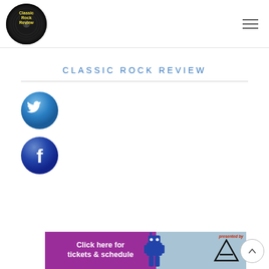Classic Rock Review logo and navigation
CLASSIC ROCK REVIEW
[Figure (logo): Twitter social media icon - blue circle with white bird]
[Figure (logo): Facebook social media icon - blue circle with white F]
[Figure (infographic): Advertisement banner: 'Click here for tickets & schedule' presented by Berks Arts with robot mascot]